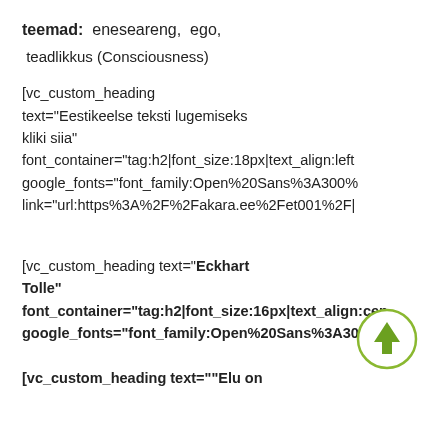teemad: eneseareng, ego, teadlikkus (Consciousness)
[vc_custom_heading text="Eestikeelse teksti lugemiseks kliki siia" font_container="tag:h2|font_size:18px|text_align:left google_fonts="font_family:Open%20Sans%3A300% link="url:https%3A%2F%2Fakara.ee%2Fet001%2F|
[vc_custom_heading text="Eckhart Tolle" font_container="tag:h2|font_size:16px|text_align:cen google_fonts="font_family:Open%20Sans%3A300%
[vc_custom_heading text=""Elu on
[Figure (illustration): Green circle with upward arrow icon (back to top button)]